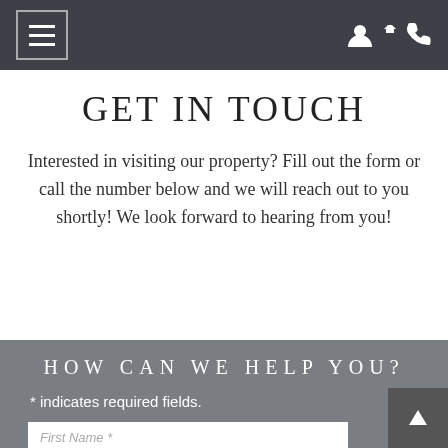Navigation bar with hamburger menu and icons
GET IN TOUCH
Interested in visiting our property? Fill out the form or call the number below and we will reach out to you shortly! We look forward to hearing from you!
HOW CAN WE HELP YOU?
* indicates required fields.